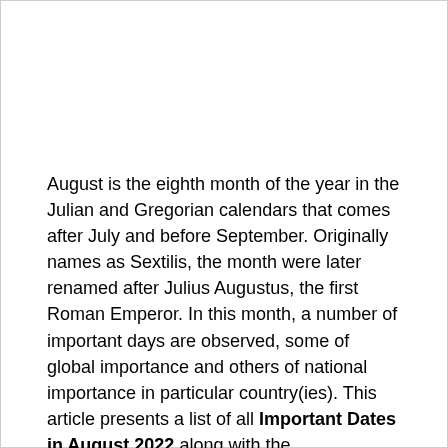August is the eighth month of the year in the Julian and Gregorian calendars that comes after July and before September. Originally names as Sextilis, the month were later renamed after Julius Augustus, the first Roman Emperor. In this month, a number of important days are observed, some of global importance and others of national importance in particular country(ies). This article presents a list of all Important Dates in August 2022 along with the corresponding dates on which they will be observed.
Today's Special Day's (31 August 2022): International Day for People of African Descent, Hari Merdeka (Malaysia National Day), North Borneo Self-government Day (Borneo), Baloch-Pakhtun Unity Day, Independence Day (Federation of Malaya, Malaysia, Kyrgyzstan, Trinidad and Tobago), Day of